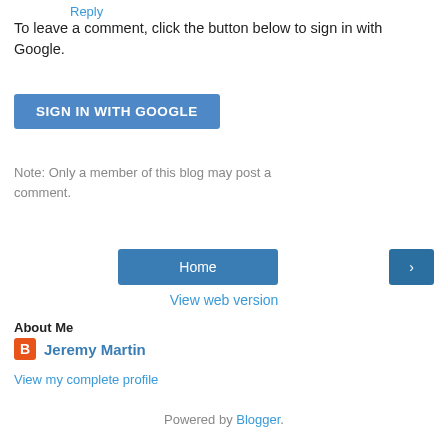Reply
To leave a comment, click the button below to sign in with Google.
SIGN IN WITH GOOGLE
Note: Only a member of this blog may post a comment.
Home
>
View web version
About Me
Jeremy Martin
View my complete profile
Powered by Blogger.